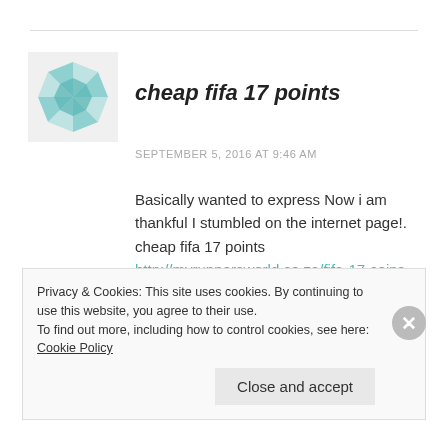[Figure (logo): Teal geometric snowflake/star avatar icon]
cheap fifa 17 points
SEPTEMBER 5, 2016 AT 9:46 AM
Basically wanted to express Now i am thankful I stumbled on the internet page!.
cheap fifa 17 points
http://myrunnersworld.co.za/fifa-17-coins-for-sale-fifa-17-top-50-people-are-being-exposed-by-the-administrators-ea/
Privacy & Cookies: This site uses cookies. By continuing to use this website, you agree to their use.
To find out more, including how to control cookies, see here: Cookie Policy
Close and accept